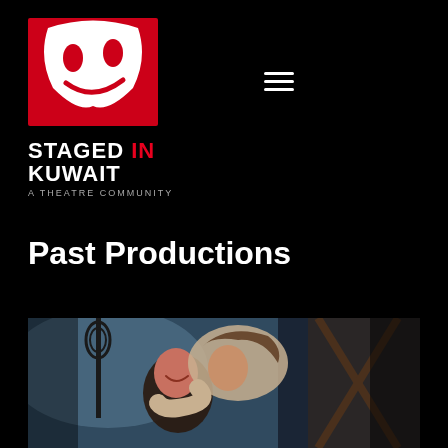[Figure (logo): Staged in Kuwait theatre community logo — red and white theatrical mask on red square background, with text STAGED IN KUWAIT and A THEATRE COMMUNITY below]
[Figure (infographic): Hamburger menu icon (three horizontal white lines) on black background]
Past Productions
[Figure (photo): Theatre production photo showing two actors embracing and laughing — one person appears to be sitting and another is hugging them from above, with dark stage lighting and set elements in background]